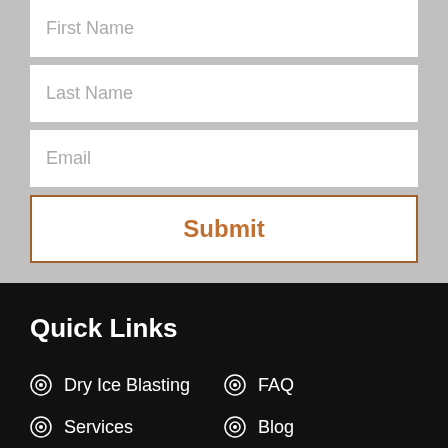First Name
Last Name
Email
Submit
Quick Links
Dry Ice Blasting
FAQ
Services
Blog
Techniques
About
Equipment
Contact